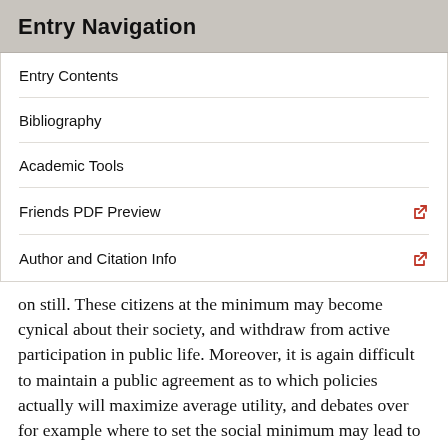Entry Navigation
Entry Contents
Bibliography
Academic Tools
Friends PDF Preview
Author and Citation Info
on still. These citizens at the minimum may become cynical about their society, and withdraw from active participation in public life. Moreover, it is again difficult to maintain a public agreement as to which policies actually will maximize average utility, and debates over for example where to set the social minimum may lead to mistrust among social classes. The difference principle encourages mutual trust and the cooperative virtues by instantiating an ideal of economic reciprocity. Each party will see the advantages of securing such a social world for the citizen they represent.